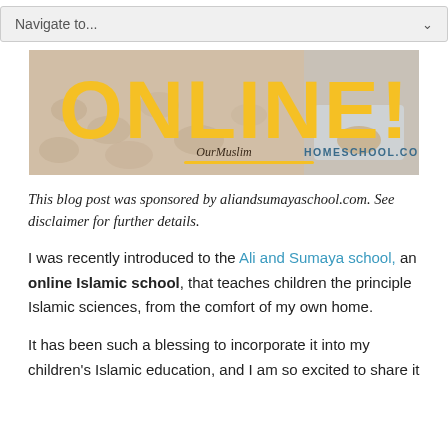Navigate to...
[Figure (illustration): Banner image showing a child's hands on a tablet on a fluffy carpet, with large yellow bold text 'ONLINE!' and watermark text 'OurMuslimHomeschool.com' with yellow underline]
This blog post was sponsored by aliandsumayaschool.com. See disclaimer for further details.
I was recently introduced to the Ali and Sumaya school, an online Islamic school, that teaches children the principle Islamic sciences, from the comfort of my own home.
It has been such a blessing to incorporate it into my children's Islamic education, and I am so excited to share it